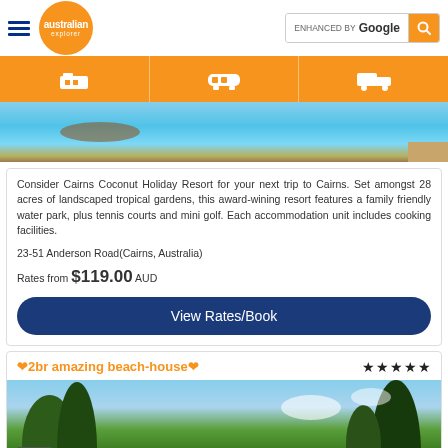Australian Explorer - ENHANCED BY Google
[Figure (photo): Swimming pool aerial view at Cairns Coconut Holiday Resort]
Consider Cairns Coconut Holiday Resort for your next trip to Cairns. Set amongst 28 acres of landscaped tropical gardens, this award-wining resort features a family friendly water park, plus tennis courts and mini golf. Each accommodation unit includes cooking facilities.
23-51 Anderson Road(Cairns, Australia)
Rates from $119.00 AUD
View Rates/Book
❤2br amazing beach-house❤
[Figure (photo): Beach house with tropical palm trees and blue sky]